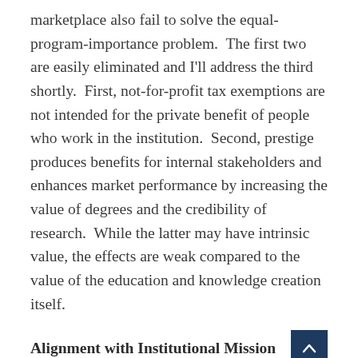marketplace also fail to solve the equal-program-importance problem.  The first two are easily eliminated and I'll address the third shortly.  First, not-for-profit tax exemptions are not intended for the private benefit of people who work in the institution.  Second, prestige produces benefits for internal stakeholders and enhances market performance by increasing the value of degrees and the credibility of research.  While the latter may have intrinsic value, the effects are weak compared to the value of the education and knowledge creation itself.
Alignment with Institutional Mission
This is best understood in the context of how